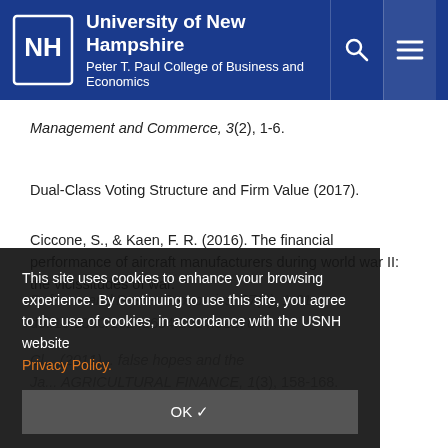University of New Hampshire — Peter T. Paul College of Business and Economics
Management and Commerce, 3(2), 1-6.
Dual-Class Voting Structure and Firm Value (2017).
Ciccone, S., & Kaen, F. R. (2016). The financial performance of aircraft manufacturers during world war II: the vicissitudes of war. Defence and Peace Economics, 27(6), 1-31. doi:10.1080/10242694.2014.922784
This site uses cookies to enhance your browsing experience. By continuing to use this site, you agree to the use of cookies, in accordance with the USNH website Privacy Policy.
OK ✓
An... nd Irrelevance Th... 115). Retrieved from https://www.webofscience.com/